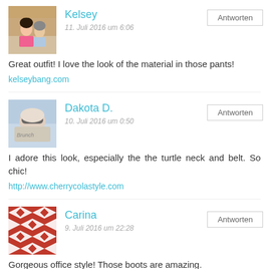[Figure (photo): Avatar photo of Kelsey - couple sitting outdoors, woman in pink dress]
Kelsey
11. Juli 2016 um 6:06
Antworten
Great outfit! I love the look of the material in those pants!
kelseybang.com
[Figure (photo): Avatar photo of Dakota D. - close up shot with sunglasses]
Dakota D.
10. Juli 2016 um 0:50
Antworten
I adore this look, especially the the turtle neck and belt. So chic!
http://www.cherrycolastyle.com
[Figure (illustration): Avatar image of Carina - geometric pattern in red and white]
Carina
9. Juli 2016 um 22:28
Antworten
Gorgeous office style! Those boots are amazing.